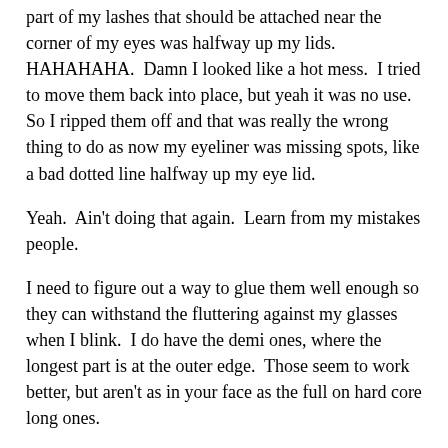part of my lashes that should be attached near the corner of my eyes was halfway up my lids.  HAHAHAHA.  Damn I looked like a hot mess.  I tried to move them back into place, but yeah it was no use.  So I ripped them off and that was really the wrong thing to do as now my eyeliner was missing spots, like a bad dotted line halfway up my eye lid.
Yeah.  Ain't doing that again.  Learn from my mistakes people.
I need to figure out a way to glue them well enough so they can withstand the fluttering against my glasses when I blink.  I do have the demi ones, where the longest part is at the outer edge.  Those seem to work better, but aren't as in your face as the full on hard core long ones.
Hi my name is Fingers, I'm a 47 year old woman trying to be hip for the second time in my life.
Now, today we are looking at another of the Barielle